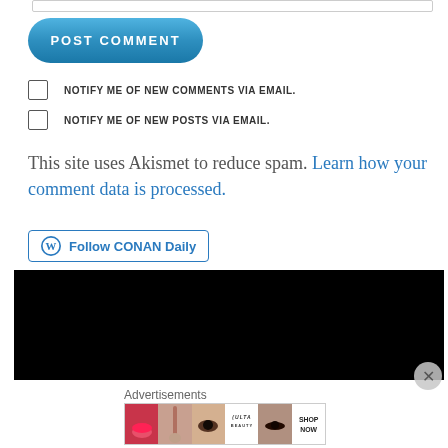[Figure (other): POST COMMENT button — blue rounded pill-shaped button with white bold uppercase text]
NOTIFY ME OF NEW COMMENTS VIA EMAIL.
NOTIFY ME OF NEW POSTS VIA EMAIL.
This site uses Akismet to reduce spam. Learn how your comment data is processed.
[Figure (other): Follow CONAN Daily button with WordPress logo]
[Figure (other): Black advertisement banner area]
Advertisements
[Figure (other): ULTA beauty advertisement strip showing makeup/beauty product images with SHOP NOW text]